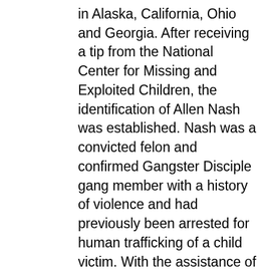in Alaska, California, Ohio and Georgia. After receiving a tip from the National Center for Missing and Exploited Children, the identification of Allen Nash was established. Nash was a convicted felon and confirmed Gangster Disciple gang member with a history of violence and had previously been arrested for human trafficking of a child victim. With the assistance of the Texas Highway Patrol, Dallas Police Department and Harris Co. Constable's Office, agents were able to identify members of the organization and uncovered numerous financial accounts related to the Doll House and associated suspects. The accounts were being used to launder the proceeds from the brothels. With the assistance of Dallas PD undercover